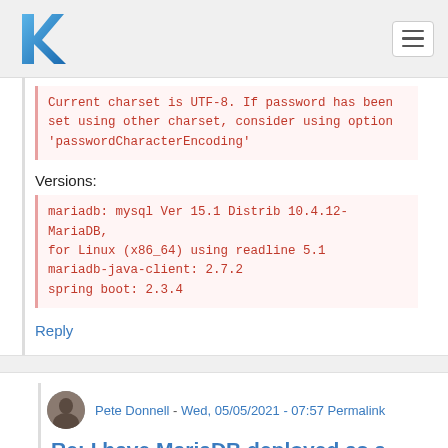K [logo] [hamburger menu]
Current charset is UTF-8. If password has been set using other charset, consider using option 'passwordCharacterEncoding'
Versions:
mariadb: mysql Ver 15.1 Distrib 10.4.12-MariaDB, for Linux (x86_64) using readline 5.1
mariadb-java-client: 2.7.2
spring boot: 2.3.4
Reply
Pete Donnell - Wed, 05/05/2021 - 07:57 Permalink
Re: I have MariaDB deployed as a...
Hi Vishal, sorry to hear that you're having trouble